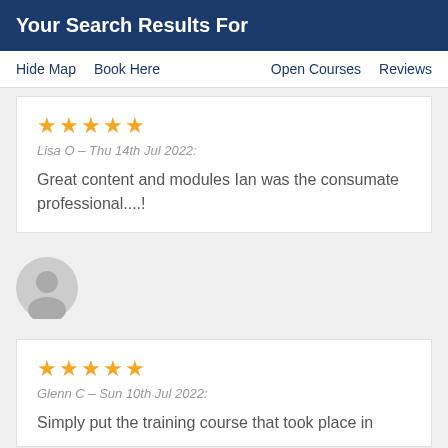Your Search Results For
Hide Map  Book Here  Open Courses  Reviews
★★★★★
Lisa O – Thu 14th Jul 2022:
Great content and modules Ian was the consumate professional....!
[Figure (illustration): Gray avatar/profile icon circle placeholder]
★★★★★
Glenn C – Sun 10th Jul 2022:
Simply put the training course that took place in